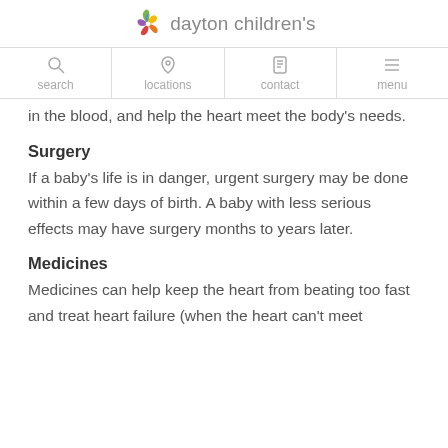dayton children's
in the blood, and help the heart meet the body's needs.
Surgery
If a baby's life is in danger, urgent surgery may be done within a few days of birth. A baby with less serious effects may have surgery months to years later.
Medicines
Medicines can help keep the heart from beating too fast and treat heart failure (when the heart can't meet